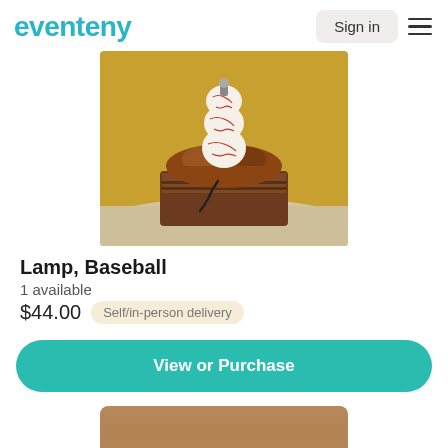eventeny  Sign in
[Figure (photo): A baseball lamp: three baseballs stacked on a leather baseball glove mounted on a rustic wooden base, placed on a beige cloth, with a yellow background.]
Lamp, Baseball
1 available
$44.00  Self/in-person delivery
View or Purchase
[Figure (photo): Partial view of another product item showing a brown wooden surface, cropped at bottom of page.]